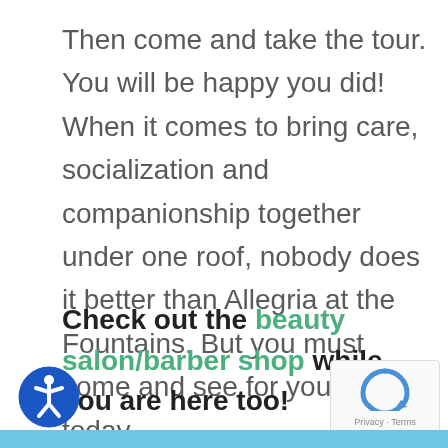Then come and take the tour. You will be happy you did! When it comes to bring care, socialization and companionship together under one roof, nobody does it better than Allegria at the Fountains. But you must come and see for your self today.
Check out the beauty salon/barber shop while you are here too!
[Figure (logo): Blue circular accessibility icon with person figure]
[Figure (logo): reCAPTCHA logo with Privacy and Terms text]